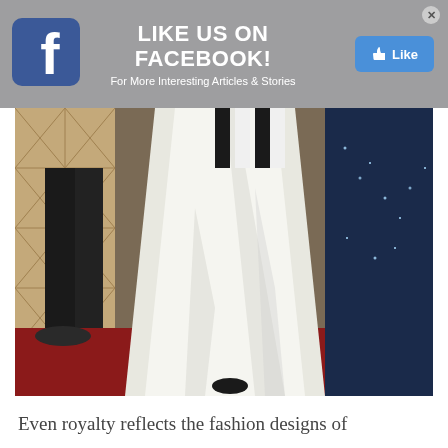[Figure (other): Facebook 'Like Us' banner ad with Facebook logo icon on the left, bold white text 'LIKE US ON FACEBOOK!' in center, subtitle 'For More Interesting Articles & Stories', and a blue Like button on the right, on a gray background]
[Figure (photo): Close-up photo of a person wearing a voluminous white satin gown on a red carpet, with other figures partially visible on either side, on a tiled floor backdrop]
Even royalty reflects the fashion designs of